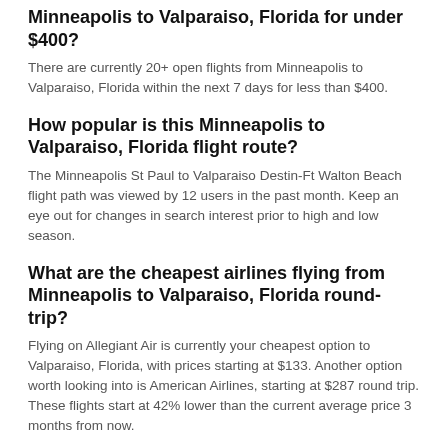Minneapolis to Valparaiso, Florida for under $400?
There are currently 20+ open flights from Minneapolis to Valparaiso, Florida within the next 7 days for less than $400.
How popular is this Minneapolis to Valparaiso, Florida flight route?
The Minneapolis St Paul to Valparaiso Destin-Ft Walton Beach flight path was viewed by 12 users in the past month. Keep an eye out for changes in search interest prior to high and low season.
What are the cheapest airlines flying from Minneapolis to Valparaiso, Florida round-trip?
Flying on Allegiant Air is currently your cheapest option to Valparaiso, Florida, with prices starting at $133. Another option worth looking into is American Airlines, starting at $287 round trip. These flights start at 42% lower than the current average price 3 months from now.